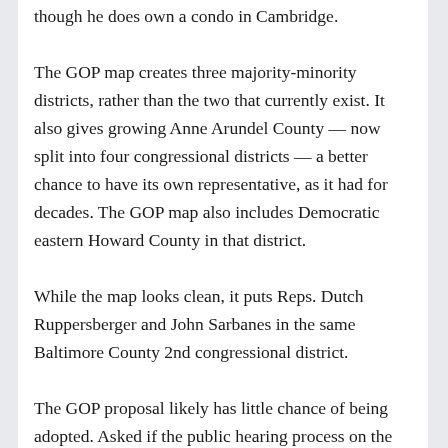though he does own a condo in Cambridge.
The GOP map creates three majority-minority districts, rather than the two that currently exist. It also gives growing Anne Arundel County — now split into four congressional districts — a better chance to have its own representative, as it had for decades. The GOP map also includes Democratic eastern Howard County in that district.
While the map looks clean, it puts Reps. Dutch Ruppersberger and John Sarbanes in the same Baltimore County 2nd congressional district.
The GOP proposal likely has little chance of being adopted. Asked if the public hearing process on the [map] was “a sham,” Mooney said, “We’ll have to see.”